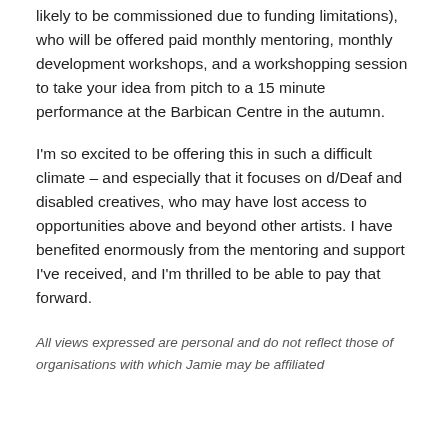likely to be commissioned due to funding limitations), who will be offered paid monthly mentoring, monthly development workshops, and a workshopping session to take your idea from pitch to a 15 minute performance at the Barbican Centre in the autumn.
I'm so excited to be offering this in such a difficult climate – and especially that it focuses on d/Deaf and disabled creatives, who may have lost access to opportunities above and beyond other artists. I have benefited enormously from the mentoring and support I've received, and I'm thrilled to be able to pay that forward.
All views expressed are personal and do not reflect those of organisations with which Jamie may be affiliated